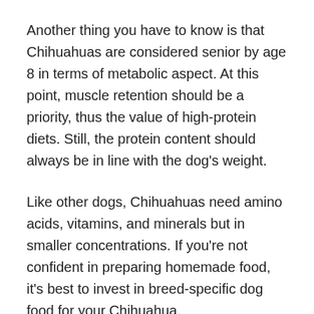Another thing you have to know is that Chihuahuas are considered senior by age 8 in terms of metabolic aspect. At this point, muscle retention should be a priority, thus the value of high-protein diets. Still, the protein content should always be in line with the dog's weight.
Like other dogs, Chihuahuas need amino acids, vitamins, and minerals but in smaller concentrations. If you're not confident in preparing homemade food, it's best to invest in breed-specific dog food for your Chihuahua.
Common health problems of Chihuahuas linked to diet...